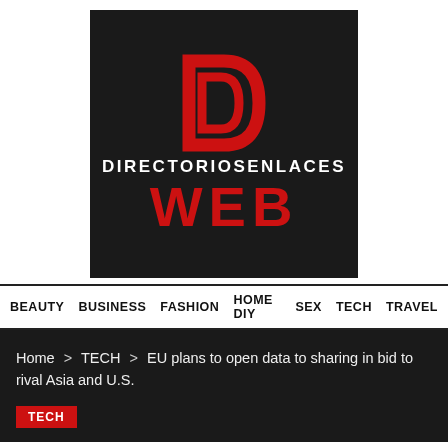[Figure (logo): Directoriosenlaces Web logo: dark background with red stylized D icon, white text DIRECTORIOSENLACES, and large red text WEB]
BEAUTY BUSINESS FASHION HOME DIY SEX TECH TRAVEL
Home > TECH > EU plans to open data to sharing in bid to rival Asia and U.S.
TECH